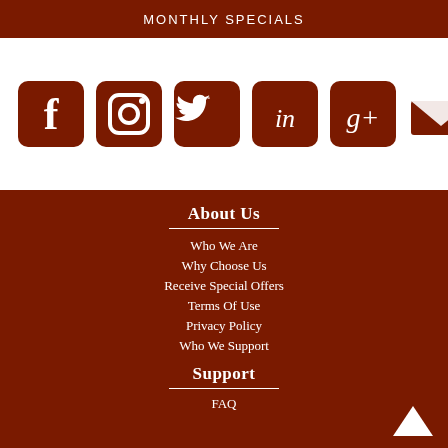MONTHLY SPECIALS
[Figure (infographic): Six social media icons (Facebook, Instagram, Twitter, LinkedIn, Google+, Email/envelope) in dark brown/maroon color on white background]
About Us
Who We Are
Why Choose Us
Receive Special Offers
Terms Of Use
Privacy Policy
Who We Support
Support
FAQ